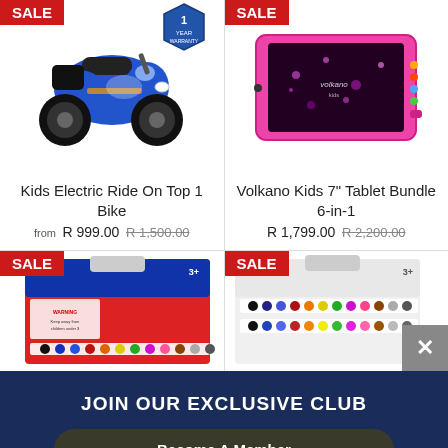[Figure (photo): Kids Electric Ride On Top 1 Bike – blue motorcycle toy with SALE badge and 1 Year Warranty badge]
[Figure (photo): Volkano Kids 7 inch Tablet Bundle 6-in-1 – pink tablet with SALE badge]
Kids Electric Ride On Top 1 Bike
from R 999.00 R 1,500.00
Volkano Kids 7" Tablet Bundle 6-in-1
R 1,799.00 R 2,200.00
[Figure (photo): Markers/pens product with SALE badge, age 3+]
[Figure (photo): Markers/pens product with SALE badge, age 3+, with close button]
JOIN OUR EXCLUSIVE CLUB
Become A Member